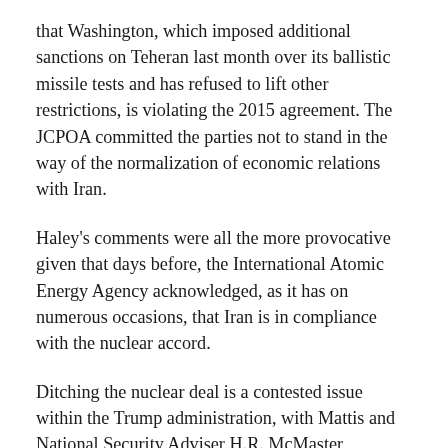that Washington, which imposed additional sanctions on Teheran last month over its ballistic missile tests and has refused to lift other restrictions, is violating the 2015 agreement. The JCPOA committed the parties not to stand in the way of the normalization of economic relations with Iran.
Haley's comments were all the more provocative given that days before, the International Atomic Energy Agency acknowledged, as it has on numerous occasions, that Iran is in compliance with the nuclear accord.
Ditching the nuclear deal is a contested issue within the Trump administration, with Mattis and National Security Adviser H.R. McMaster apparently opposed. Far from being motivated by a concern to avoid further escalation, their principal fear is that abrogating the deal would undermine US imperialist interests. This is bound up with a number of interrelated considerations.